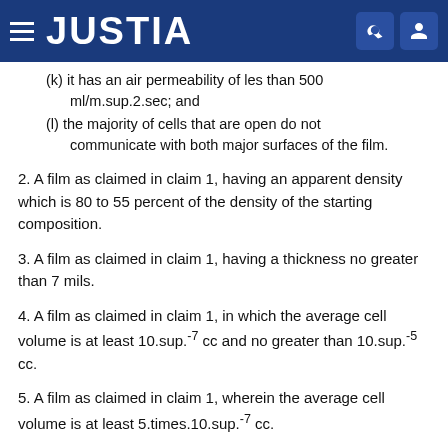JUSTIA
(k) it has an air permeability of less than 500 ml/m.sup.2.sec; and
(l) the majority of cells that are open do not communicate with both major surfaces of the film.
2. A film as claimed in claim 1, having an apparent density which is 80 to 55 percent of the density of the starting composition.
3. A film as claimed in claim 1, having a thickness no greater than 7 mils.
4. A film as claimed in claim 1, in which the average cell volume is at least 10.sup.-7 cc and no greater than 10.sup.-5 cc.
5. A film as claimed in claim 1, wherein the average cell volume is at least 5.times.10.sup.-7 cc.